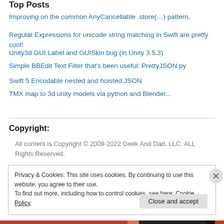Top Posts
Improving on the common AnyCancellable .store(…) pattern.
Regular Expressions for unicode string matching in Swift are pretty cool!
Unity3d GUI.Label and GUISkin bug (in Unity 3.5.3)
Simple BBEdit Text Filter that's been useful: PrettyJSON.py
Swift 5 Encodable nested and hoisted JSON
TMX map to 3d unity models via python and Blender...
Copyright:
All content is Copyright © 2009-2022 Geek And Dad, LLC. ALL Rights Reserved.
Privacy & Cookies: This site uses cookies. By continuing to use this website, you agree to their use.
To find out more, including how to control cookies, see here: Cookie Policy
Close and accept